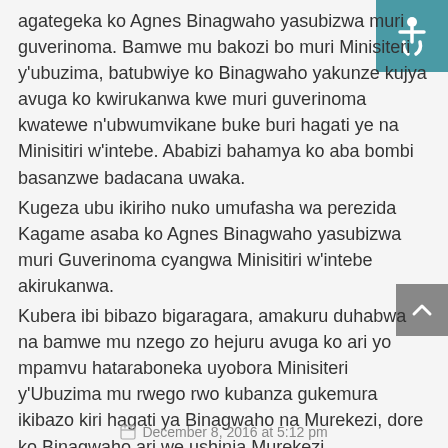agategeka ko Agnes Binagwaho yasubizwa muri guverinoma. Bamwe mu bakozi bo muri Minisiteri y'ubuzima, batubwiye ko Binagwaho yakunze kujya avuga ko kwirukanwa kwe muri guverinoma kwatewe n'ubwumvikane buke buri hagati ye na Minisitiri w'intebe. Ababizi bahamya ko aba bombi basanzwe badacana uwaka.
Kugeza ubu ikiriho nuko umufasha wa perezida Kagame asaba ko Agnes Binagwaho yasubizwa muri Guverinoma cyangwa Minisitiri w'intebe akirukanwa.
Kubera ibi bibazo bigaragara, amakuru duhabwa na bamwe mu nzego zo hejuru avuga ko ari yo mpamvu hataraboneka uyobora Minisiteri y'Ubuzima mu rwego rwo kubanza gukemura ikibazo kiri hagati ya Binagwaho na Murekezi, dore ko Binagwaho ari we ushinja Murekezi kumwirukana mu maherere bishingiye ku bwumvikane buke.
Ku rundi ruhande ariko, amabwiriza yo kwirukana Agnes Binagwaho muri guverinoma, Minisitiri w'intebe Anastase Murekezi.
December 8, 2016 at 5:12 pm